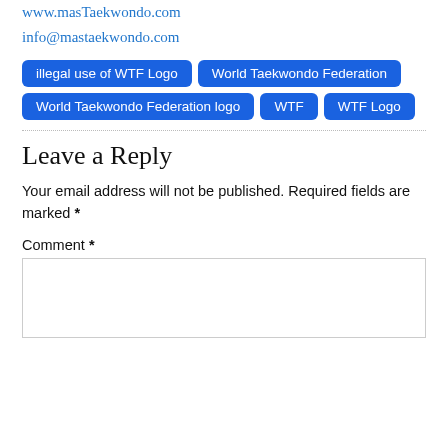www.masTaekwondo.com
info@mastaekwondo.com
illegal use of WTF Logo
World Taekwondo Federation
World Taekwondo Federation logo
WTF
WTF Logo
Leave a Reply
Your email address will not be published. Required fields are marked *
Comment *